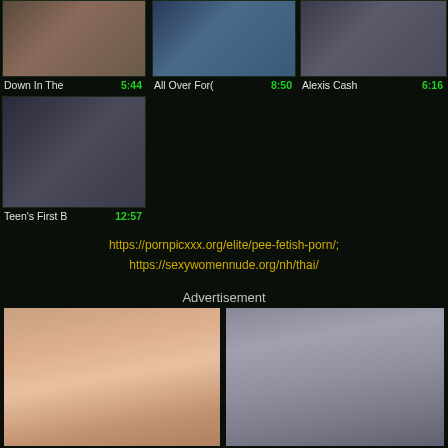[Figure (screenshot): Video thumbnail 1 - Down In The, duration 5:44]
[Figure (screenshot): Video thumbnail 2 - All Over For(ce), duration 8:50]
[Figure (screenshot): Video thumbnail 3 - Alexis Cash, duration 6:16]
[Figure (screenshot): Video thumbnail 4 - Teen's First B, duration 12:57]
https://pornpicxxx.org/elite/pee-fetish-porn/; https://sexywomennude.org/nh/thai/
Advertisement
[Figure (photo): Advertisement photo 1 - blonde woman]
[Figure (photo): Advertisement photo 2 - brunette woman]